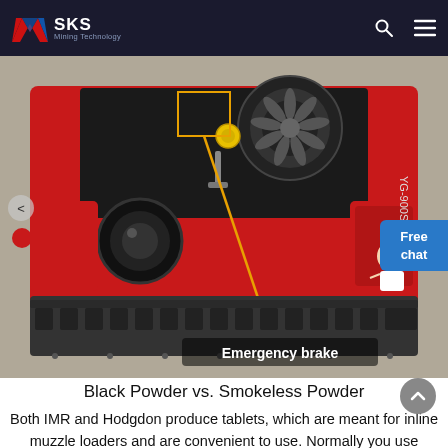SKS Mining Technology
[Figure (photo): Top-down view of a red tracked remote-controlled mower/machine (YG-900S model). The machine has rubber tracks at the bottom, a black engine in the center, yellow fuel cap, and various mechanical components. An orange diagonal arrow points from a callout box to the track area, labeled 'Emergency brake' in bold white text on a dark overlay at the bottom of the image. A chat support character is visible on the right side.]
Black Powder vs. Smokeless Powder
Both IMR and Hodgdon produce tablets, which are meant for inline muzzle loaders and are convenient to use. Normally you use either two or three tablets, depending on how much power you want. They are capable of good power and accuracy. With 3